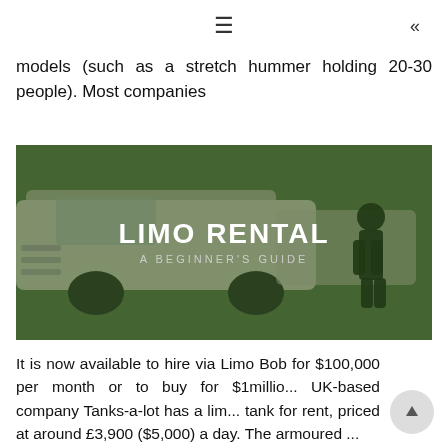☰  «
models (such as a stretch hummer holding 20-30 people). Most companies
[Figure (photo): Photo of white stretch limousines parked with a dark green overlay. Bold text reads 'LIMO RENTAL' and subtitle 'A BEGINNER'S GUIDE']
It is now available to hire via Limo Bob for $100,000 per month or to buy for $1millio... UK-based company Tanks-a-lot has a lim... tank for rent, priced at around £3,900 ($5,000) a day. The armoured ...